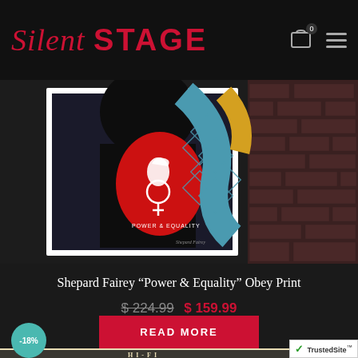Silent STAGE
[Figure (photo): Framed Shepard Fairey 'Power & Equality' Obey print displayed against a dark background with brick wall. The print features a woman with dark hair, red and blue graphic design with a dove and female symbol.]
Shepard Fairey "Power & Equality" Obey Print
$ 224.99  $ 159.99
READ MORE
[Figure (photo): Bottom portion of another product - HI-FI print with cream/tan background and ornate black lettering, partially visible. Shows '-18%' discount badge.]